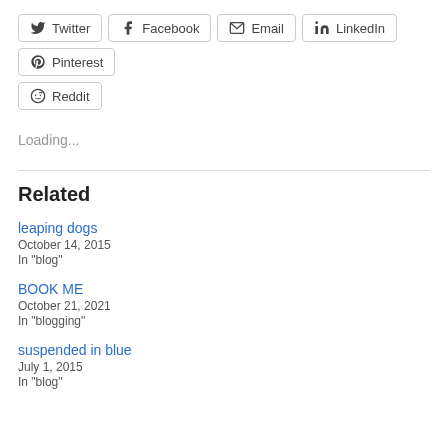Twitter
Facebook
Email
LinkedIn
Pinterest
Reddit
Loading...
Related
leaping dogs
October 14, 2015
In "blog"
BOOK ME
October 21, 2021
In "blogging"
suspended in blue
July 1, 2015
In "blog"